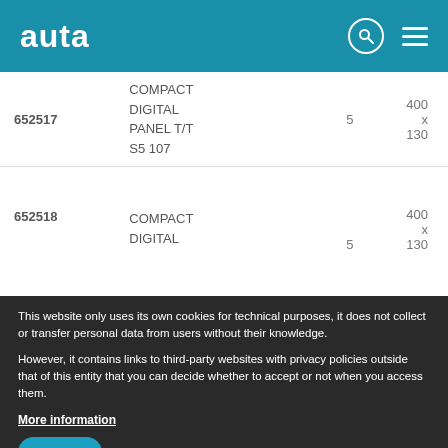auta
| Code | Description | Qty | Dimensions |
| --- | --- | --- | --- |
| 652517 | COMPACT DIGITAL PANEL T/T S5 107 | 5 | 400 x 130 |
| 652518 | COMPACT DIGITAL ... | 5 | 400 x 130 |
This website only uses its own cookies for technical purposes, it does not collect or transfer personal data from users without their knowledge.
However, it contains links to third-party websites with privacy policies outside that of this entity that you can decide whether to accept or not when you access them.
More information
I agree